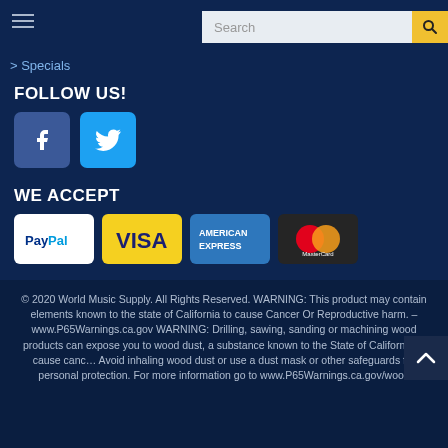Search
> Specials
FOLLOW US!
[Figure (logo): Facebook and Twitter social media icons]
WE ACCEPT
[Figure (logo): PayPal, Visa, American Express, MasterCard payment icons]
© 2020 World Music Supply. All Rights Reserved. WARNING: This product may contain elements known to the state of California to cause Cancer Or Reproductive harm. – www.P65Warnings.ca.gov WARNING: Drilling, sawing, sanding or machining wood products can expose you to wood dust, a substance known to the State of California to cause cancer. Avoid inhaling wood dust or use a dust mask or other safeguards for personal protection. For more information go to www.P65Warnings.ca.gov/wood